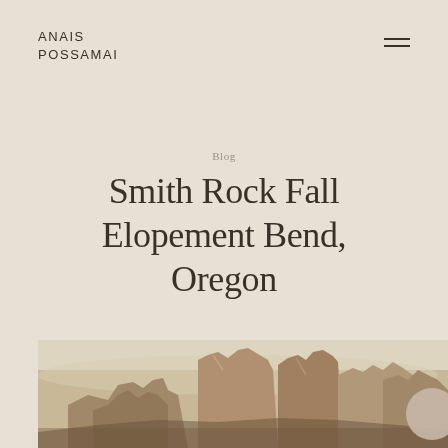ANAIS POSSAMAI
Blog
Smith Rock Fall Elopement Bend, Oregon
DECEMBER 11, 2020
[Figure (photo): Landscape photo of Smith Rock State Park in Bend, Oregon, showing tall rocky spires and cliffs in muted autumn tones with a pale sky in the background.]